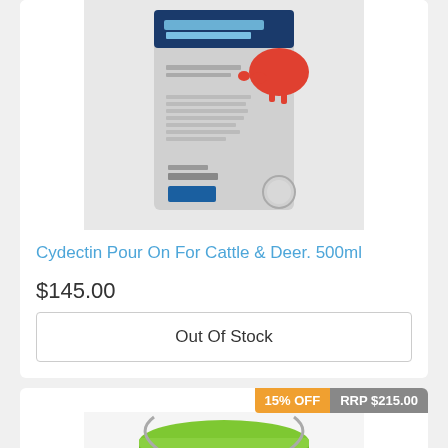[Figure (photo): Product photo of Cydectin Pour On For Cattle & Deer 500ml bottle, gray/blue packaging with red cow logo]
Cydectin Pour On For Cattle & Deer. 500ml
$145.00
Out Of Stock
15% OFF
RRP $215.00
[Figure (photo): Product photo of a green bucket/container with black label, partially visible at bottom of page]